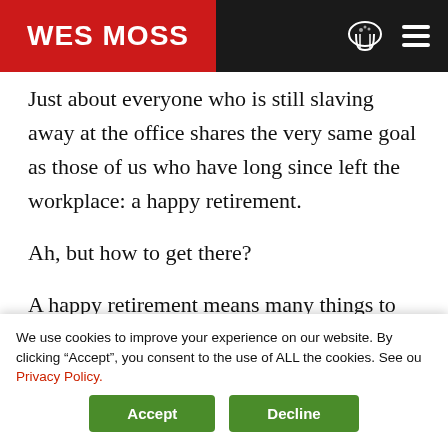WES MOSS
Just about everyone who is still slaving away at the office shares the very same goal as those of us who have long since left the workplace: a happy retirement.
Ah, but how to get there?
A happy retirement means many things to many different people. When there are 10 habits that can certainly help to make retirement more fulfilling. I reached out to these authors who have answers...
We use cookies to improve your experience on our website. By clicking "Accept", you consent to the use of ALL the cookies. See our Privacy Policy.